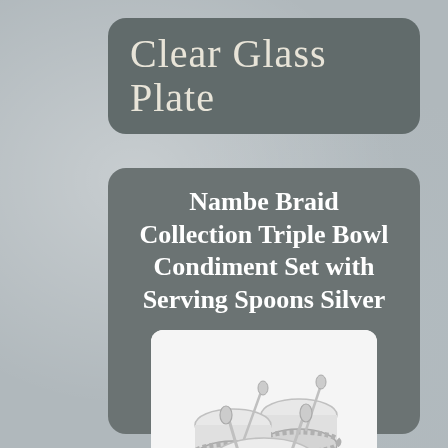Clear Glass Plate
Nambe Braid Collection Triple Bowl Condiment Set with Serving Spoons Silver
[Figure (photo): Silver triple bowl condiment set with serving spoons, featuring braid-pattern silver rings around three clear glass bowls with silver spoons resting inside each bowl.]